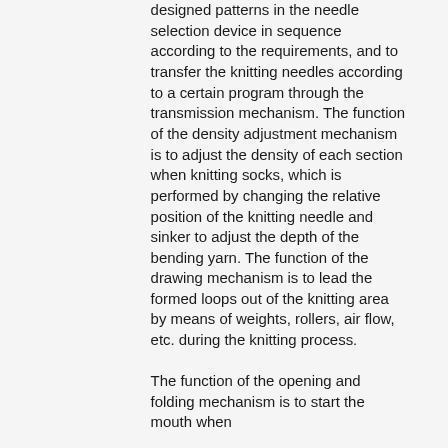designed patterns in the needle selection device in sequence according to the requirements, and to transfer the knitting needles according to a certain program through the transmission mechanism. The function of the density adjustment mechanism is to adjust the density of each section when knitting socks, which is performed by changing the relative position of the knitting needle and sinker to adjust the depth of the bending yarn. The function of the drawing mechanism is to lead the formed loops out of the knitting area by means of weights, rollers, air flow, etc. during the knitting process.
The function of the opening and folding mechanism is to start the mouth when